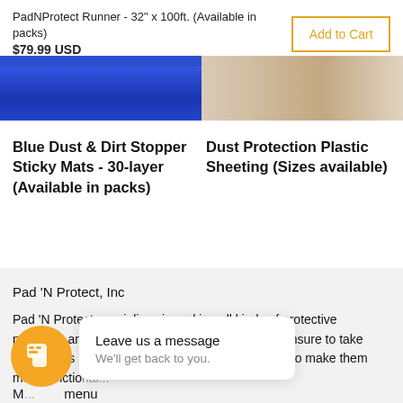PadNProtect Runner - 32" x 100ft. (Available in packs)
$79.99 USD
[Figure (photo): Blue product image on left, plastic sheeting photo on right]
Blue Dust & Dirt Stopper Sticky Mats - 30-layer (Available in packs)
Dust Protection Plastic Sheeting (Sizes available)
Pad 'N Protect, Inc
Pad 'N Protect specializes in making all kinds of protective products, and the footer is not an exception. We ensure to take your needs into account while designing products to make them mo... functio...
M... menu
Leave us a message
We'll get back to you.